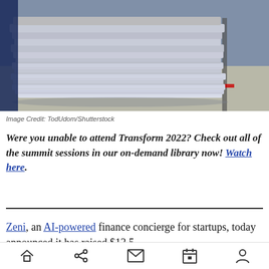[Figure (photo): A large stack of papers/documents piled high, photographed close-up showing the edges of many sheets.]
Image Credit: TodUdom/Shutterstock
Were you unable to attend Transform 2022? Check out all of the summit sessions in our on-demand library now! Watch here.
Zeni, an AI-powered finance concierge for startups, today announced it has raised $13.5